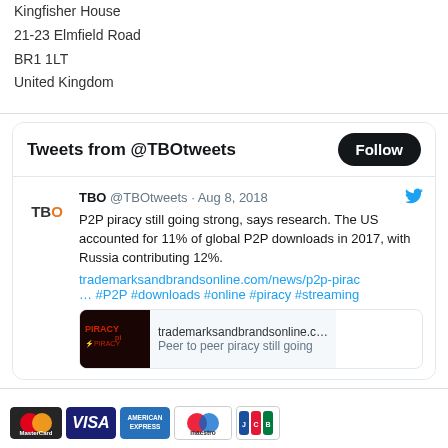Kingfisher House
21-23 Elmfield Road
BR1 1LT
United Kingdom
[Figure (screenshot): Twitter widget showing tweets from @TBOtweets. Header shows 'Tweets from @TBOtweets' with a Follow button. Tweet from TBO @TBOtweets on Aug 8, 2018: 'P2P piracy still going strong, says research. The US accounted for 11% of global P2P downloads in 2017, with Russia contributing 12%.' with link trademarksandbrandsonline.com/news/p2p-pirac... and hashtags #P2P #downloads #online #piracy #streaming. Link preview card shows 'PIRACY' image with trademarksandbrandsonline.c... and 'Peer to peer piracy still going']
[Figure (illustration): Payment method logos: MasterCard, VISA, American Express, Maestro, JCB]